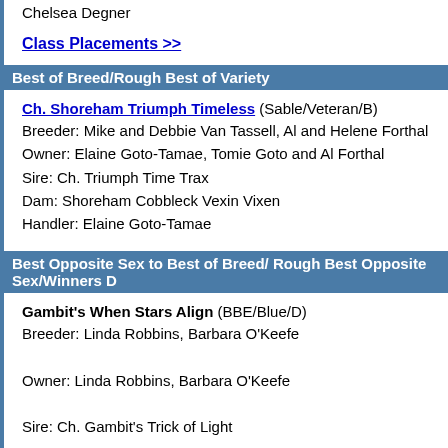Chelsea Degner
Class Placements >>
Best of Breed/Rough Best of Variety
Ch. Shoreham Triumph Timeless (Sable/Veteran/B)
Breeder: Mike and Debbie Van Tassell, Al and Helene Forthal
Owner: Elaine Goto-Tamae, Tomie Goto and Al Forthal
Sire: Ch. Triumph Time Trax
Dam: Shoreham Cobbleck Vexin Vixen
Handler: Elaine Goto-Tamae
Best Opposite Sex to Best of Breed/ Rough Best Opposite Sex/Winners D
Gambit's When Stars Align (BBE/Blue/D)
Breeder: Linda Robbins, Barbara O'Keefe
Owner: Linda Robbins, Barbara O'Keefe
Sire: Ch. Gambit's Trick of Light
Dam: Gambit's Dangers of the Heart
Rough Best of Winners/Winners Bitch -- 5 points